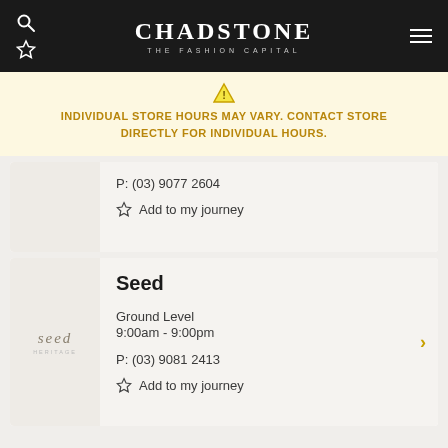CHADSTONE THE FASHION CAPITAL
INDIVIDUAL STORE HOURS MAY VARY. CONTACT STORE DIRECTLY FOR INDIVIDUAL HOURS.
P: (03) 9077 2604
Add to my journey
Seed
Ground Level
9:00am - 9:00pm
P: (03) 9081 2413
Add to my journey